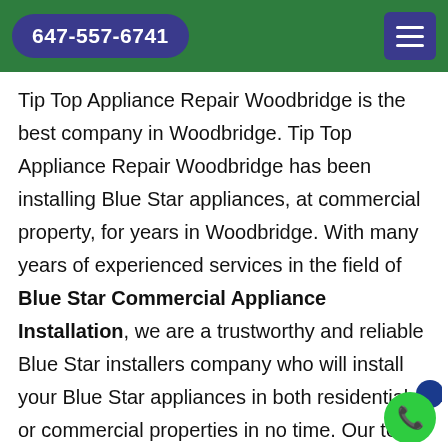647-557-6741
Tip Top Appliance Repair Woodbridge is the best company in Woodbridge. Tip Top Appliance Repair Woodbridge has been installing Blue Star appliances, at commercial property, for years in Woodbridge. With many years of experienced services in the field of Blue Star Commercial Appliance Installation, we are a trustworthy and reliable Blue Star installers company who will install your Blue Star appliances in both residential or commercial properties in no time. Our team of Blue Star installation experts at Tip Top Appliance Repair Woodbridge are skilled in the art of Installing Blue Star Appliances. For Blue...